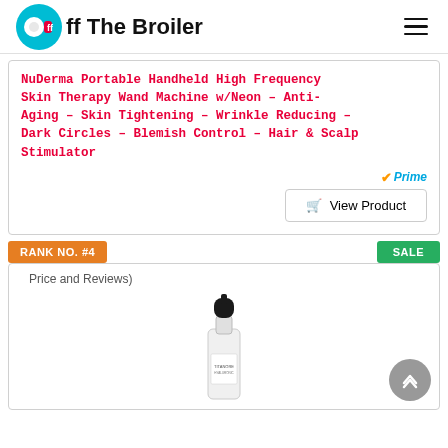Off The Broiler
NuDerma Portable Handheld High Frequency Skin Therapy Wand Machine w/Neon – Anti-Aging – Skin Tightening – Wrinkle Reducing – Dark Circles – Blemish Control – Hair & Scalp Stimulator
Prime
View Product
Price and Reviews)
RANK NO. #4
SALE
[Figure (photo): A small serum dropper bottle product image (partially visible), appears to be a skincare serum bottle with black dropper cap]